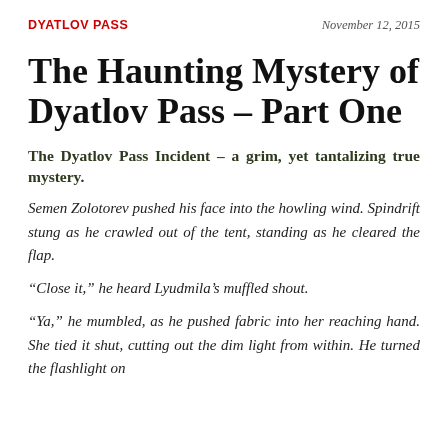DYATLOV PASS | November 12, 2015
The Haunting Mystery of Dyatlov Pass – Part One
The Dyatlov Pass Incident – a grim, yet tantalizing true mystery.
Semen Zolotorev pushed his face into the howling wind. Spindrift stung as he crawled out of the tent, standing as he cleared the flap.
“Close it,” he heard Lyudmila’s muffled shout.
“Ya,” he mumbled, as he pushed fabric into her reaching hand. She tied it shut, cutting out the dim light from within. He turned the flashlight on